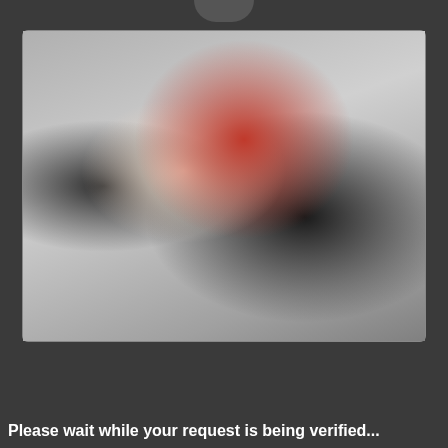[Figure (photo): Photo of a young woman in red outfit with black stockings posed near a mirror]
My name is Alessa. Age: 20. GFE
Sex Chat
Please wait while your request is being verified...